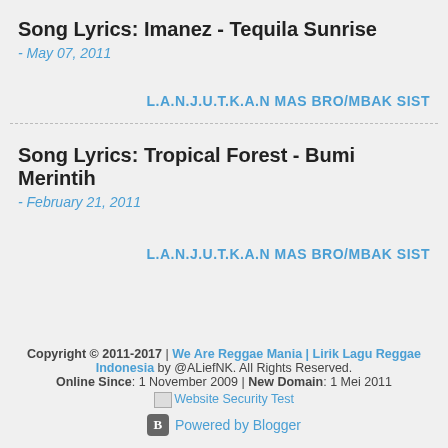Song Lyrics: Imanez - Tequila Sunrise
- May 07, 2011
L.A.N.J.U.T.K.A.N MAS BRO/MBAK SIST
Song Lyrics: Tropical Forest - Bumi Merintih
- February 21, 2011
L.A.N.J.U.T.K.A.N MAS BRO/MBAK SIST
Copyright © 2011-2017 | We Are Reggae Mania | Lirik Lagu Reggae Indonesia by @ALiefNK. All Rights Reserved. Online Since: 1 November 2009 | New Domain: 1 Mei 2011 [Website Security Test] Powered by Blogger